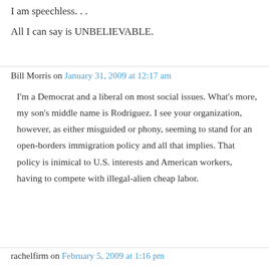I am speechless. . .
All I can say is UNBELIEVABLE.
Bill Morris on January 31, 2009 at 12:17 am
I'm a Democrat and a liberal on most social issues. What's more, my son's middle name is Rodriguez. I see your organization, however, as either misguided or phony, seeming to stand for an open-borders immigration policy and all that implies. That policy is inimical to U.S. interests and American workers, having to compete with illegal-alien cheap labor.
rachelfirm on February 5, 2009 at 1:16 pm